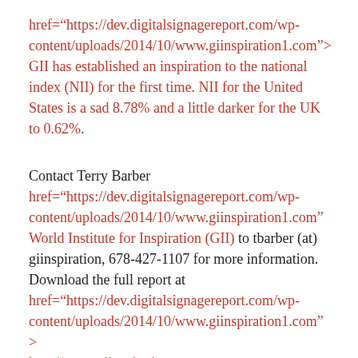href="https://dev.digitalsignagereport.com/wp-content/uploads/2014/10/www.giinspiration1.com" onclick="linkClick(this.href)" GII has established an inspiration to the national index (NII) for the first time. NII for the United States is a sad 8.78% and a little darker for the UK to 0.62%.
Contact Terry Barber href="https://dev.digitalsignagereport.com/wp-content/uploads/2014/10/www.giinspiration1.com" onclick="linkClick(this.href)" World Institute for Inspiration (GII) to tbarber (at) giinspiration, 678-427-1107 for more information. Download the full report at href="https://dev.digitalsignagereport.com/wp-content/uploads/2014/10/www.giinspiration1.com" onclick="linkClick(this.href)" http://www.giinspiration.com